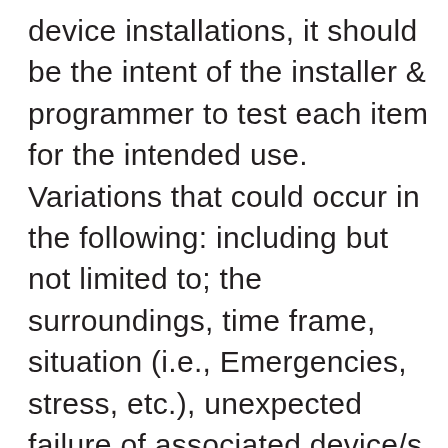device installations, it should be the intent of the installer & programmer to test each item for the intended use. Variations that could occur in the following: including but not limited to; the surroundings, time frame, situation (i.e., Emergencies, stress, etc.), unexpected failure of associated device/s or power, misuse by children, pets or persons unfamiliar with system and combinations of the preceding. Each event scenario should